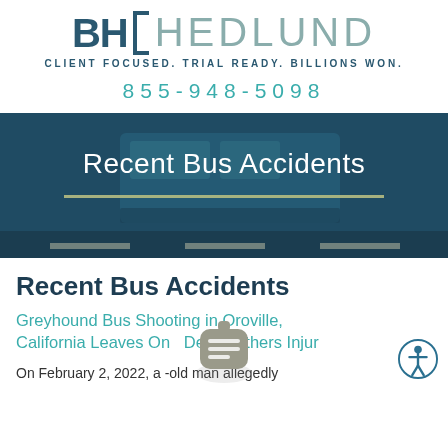[Figure (logo): BHL Hedlund law firm logo with bracket graphic and tagline CLIENT FOCUSED. TRIAL READY. BILLIONS WON.]
855-948-5098
[Figure (photo): Dark blue-tinted photo of a city bus on a street used as hero banner background with text 'Recent Bus Accidents' and decorative horizontal line]
Recent Bus Accidents
Greyhound Bus Shooting in Oroville, California Leaves One Dead, Others Injured
On February 2, 2022, a -old man allegedly